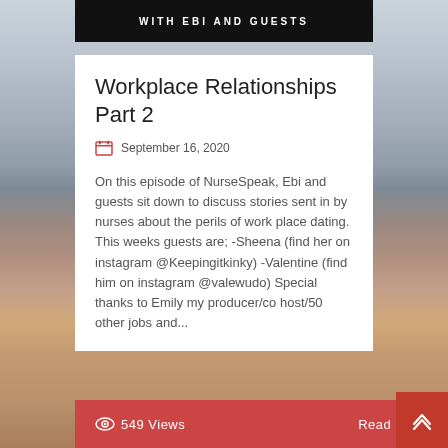WITH EBI AND GUESTS
Workplace Relationships Part 2
September 16, 2020
On this episode of NurseSpeak, Ebi and guests sit down to discuss stories sent in by nurses about the perils of work place dating. This weeks guests are; -Sheena (find her on instagram @Keepingitkinky) -Valentine (find him on instagram @valewudo) Special thanks to Emily my producer/co host/50 other jobs and...
549 Views   Read More